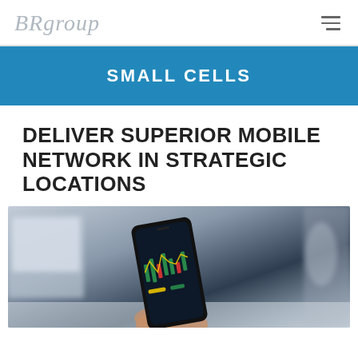BRgroup
SMALL CELLS
DELIVER SUPERIOR MOBILE NETWORK IN STRATEGIC LOCATIONS
[Figure (photo): A hand holding a smartphone displaying a trading/financial chart application, with a laptop visible in the blurred background on a desk.]